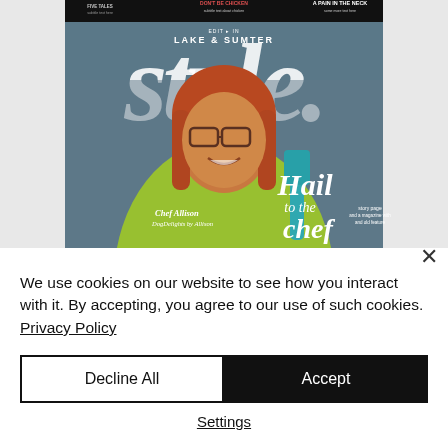[Figure (photo): Magazine cover of 'Style. Lake & Sumter' edition showing a smiling red-haired woman wearing glasses and a yellow-green chef's apron, holding a teal spatula. Text on cover reads 'Hail to the Chef' and 'Chef Allison, DogDelights by Allison']
We use cookies on our website to see how you interact with it. By accepting, you agree to our use of such cookies. Privacy Policy
Decline All
Accept
Settings